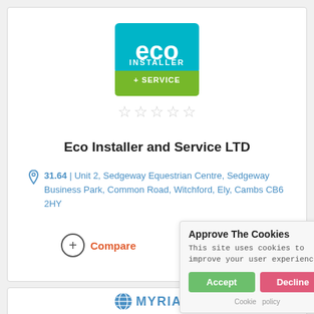[Figure (logo): Eco Installer + Service logo — teal/cyan square with 'eco' in large white letters, 'INSTALLER' below, and green bar with '+ SERVICE']
[Figure (other): 5 empty/outline stars rating display in light grey]
Eco Installer and Service LTD
31.64 | Unit 2, Sedgeway Equestrian Centre, Sedgeway Business Park, Common Road, Witchford, Ely, Cambs CB6 2HY
Compare
Get a Quote
Approve The Cookies
This site uses cookies to improve your user experience.
Accept   Decline
Cookie policy
[Figure (logo): Myriad logo — blue globe icon with MYRIAD text in blue capital letters]